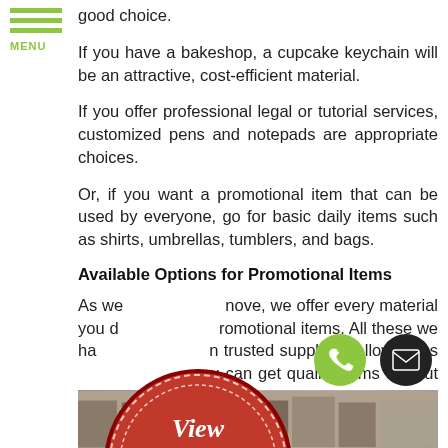MENU
good choice.
If you have a bakeshop, a cupcake keychain will be an attractive, cost-efficient material.
If you offer professional legal or tutorial services, customized pens and notepads are appropriate choices.
Or, if you want a promotional item that can be used by everyone, go for basic daily items such as shirts, umbrellas, tumblers, and bags.
Available Options for Promotional Items
As we mentioned above, we offer every material you can need for promotional items. All these we have are sourced from trusted suppliers, allowing us to ensure that you can get quality items without necessarily spending too much.
[Figure (illustration): Red stamp/seal overlay with 'View Sign Gallery CLICK HERE' text over the paragraph]
[Figure (photo): Bottom photo strip showing merchandise/products in a store or display]
[Figure (illustration): Green phone button and black email envelope button in bottom right corner]